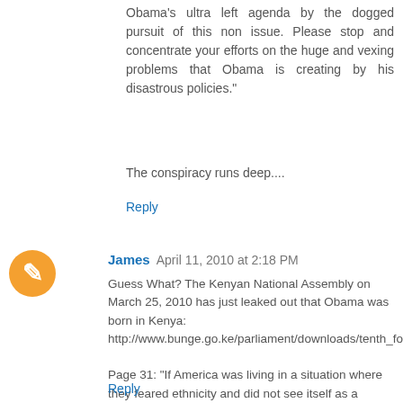Obama's ultra left agenda by the dogged pursuit of this non issue. Please stop and concentrate your efforts on the huge and vexing problems that Obama is creating by his disastrous policies."
The conspiracy runs deep....
Reply
James  April 11, 2010 at 2:18 PM
Guess What? The Kenyan National Assembly on March 25, 2010 has just leaked out that Obama was born in Kenya: http://www.bunge.go.ke/parliament/downloads/tenth_forth_sess/Hansard/RDRAFT25.03P.pdf

Page 31: "If America was living in a situation where they feared ethnicity and did not see itself as a multiparty state or nation, how could a young man born here in Kenya, who is not even a native American, become the President of America? It is because they did away with exclusion."
Reply